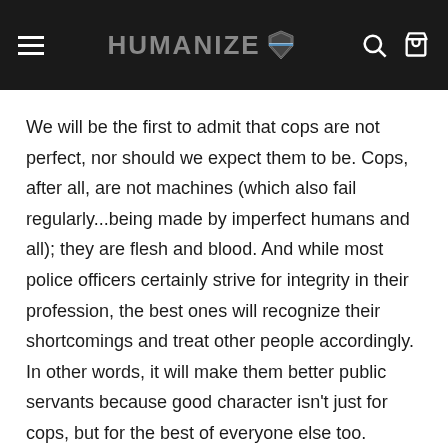HUMANIZE
We will be the first to admit that cops are not perfect, nor should we expect them to be.  Cops, after all, are not machines (which also fail regularly...being made by imperfect humans and all); they are flesh and blood. And while most police officers certainly strive for integrity in their profession, the best ones will recognize their shortcomings and treat other people accordingly. In other words, it will make them better public servants because good character isn't just for cops, but for the best of everyone else too.